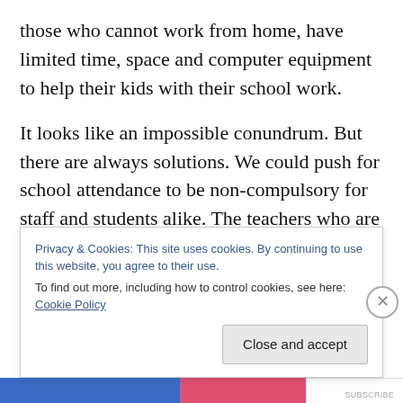those who cannot work from home, have limited time, space and computer equipment to help their kids with their school work.
It looks like an impossible conundrum. But there are always solutions. We could push for school attendance to be non-compulsory for staff and students alike. The teachers who are working from home could focus on teaching the home-educated. This non-coercive form of virus control would have the added benefit of reducing school cohorts, meaning more space to have distancing
Privacy & Cookies: This site uses cookies. By continuing to use this website, you agree to their use.
To find out more, including how to control cookies, see here: Cookie Policy
Close and accept